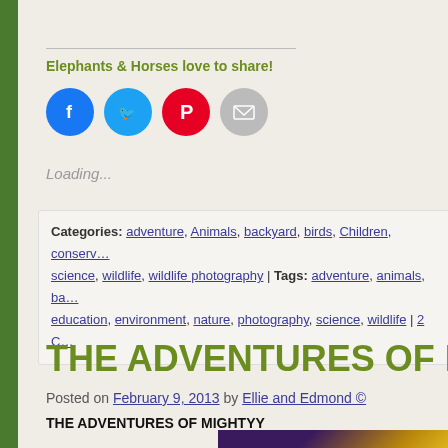Elephants & Horses love to share!
[Figure (infographic): Four social sharing buttons: Facebook (blue circle), Twitter (light blue circle), Pinterest (red circle), Email (grey circle)]
Loading...
Categories: adventure, Animals, backyard, birds, Children, conserv..., science, wildlife, wildlife photography | Tags: adventure, animals, ba..., education, environment, nature, photography, science, wildlife | 2 C...
THE ADVENTURES OF MIGHTY
Posted on February 9, 2013 by Ellie and Edmond ©
THE ADVENTURES OF MIGHTYY
[Figure (photo): Partial thumbnail image with colorful text reading 'the genius of Jon L...' on a dark purple/gold background]